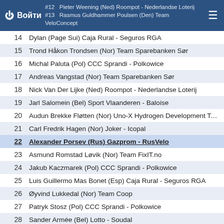Войти | #12 Pieter Weening (Ned) Roompot - Nederlandse Loterij | #13 Rasmus Guldhammer Poulsen (Den) Team VeloConcept
14  Dylan (Page Sui) Caja Rural - Seguros RGA
15  Trond Håkon Trondsen (Nor) Team Sparebanken Sør
16  Michal Paluta (Pol) CCC Sprandi - Polkowice
17  Andreas Vangstad (Nor) Team Sparebanken Sør
18  Nick Van Der Lijke (Ned) Roompot - Nederlandse Loterij
19  Jarl Salomein (Bel) Sport Vlaanderen - Baloise
20  Audun Brekke Fløtten (Nor) Uno-X Hydrogen Development Team
21  Carl Fredrik Hagen (Nor) Joker - Icopal
22  Alexander Porsev (Rus) Gazprom - RusVelo
23  Asmund Romstad Løvik (Nor) Team FixIT.no
24  Jakub Kaczmarek (Pol) CCC Sprandi - Polkowice
25  Luis Guillermo Mas Bonet (Esp) Caja Rural - Seguros RGA
26  Øyvind Lukkedal (Nor) Team Coop
27  Patryk Stosz (Pol) CCC Sprandi - Polkowice
28  Sander Armée (Bel) Lotto - Soudal
29  Nicholas Schultz (Aus) Caja Rural - Seguros RGA
30  Daniel Pearson (Gbr) Aqua Blue Sport
31  Eduardo Sepulveda (Arg) Fortuneo - Vital Concept
32  Tony Gallopin (Fra) Lotto - Soudal
33  Tobias Svendsen Foss (Nor) Joker - Icopal